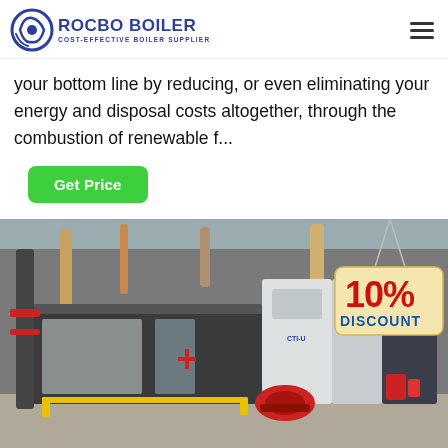ROCBO BOILER - COST-EFFECTIVE BOILER SUPPLIER
your bottom line by reducing, or even eliminating your energy and disposal costs altogether, through the combustion of renewable f...
Get Price
[Figure (photo): Industrial boiler equipment in a factory setting with multiple boiler units, pipes, and a red burner visible. A 10% DISCOUNT tag is overlaid on the top right corner of the image.]